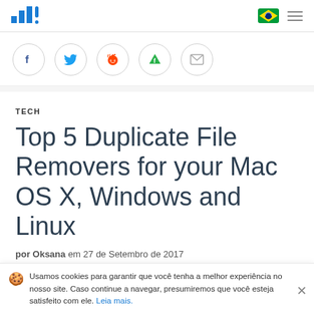Top 5 Duplicate File Removers – site header with logo and navigation
[Figure (infographic): Social share buttons: Facebook, Twitter, Reddit, Feedly, Email]
TECH
Top 5 Duplicate File Removers for your Mac OS X, Windows and Linux
por Oksana  em 27 de Setembro de 2017
Usamos cookies para garantir que você tenha a melhor experiência no nosso site. Caso continue a navegar, presumiremos que você esteja satisfeito com ele. Leia mais.